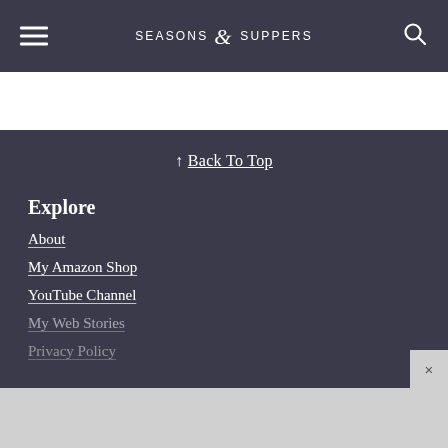SEASONS & SUPPERS
↑ Back To Top
Explore
About
My Amazon Shop
YouTube Channel
My Web Stories
Privacy Policy